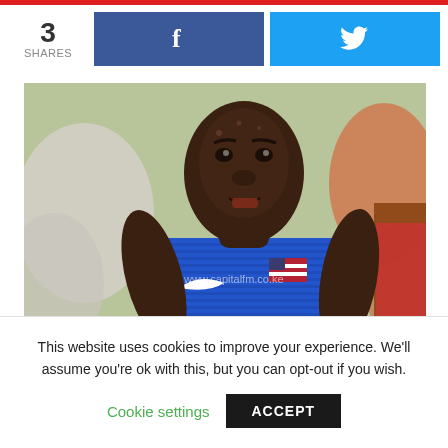3 SHARES
[Figure (photo): Athlete wearing a blue USA Nike track jersey with American flag, running in a race. Watermark: www.capitalfm.co.ke]
This website uses cookies to improve your experience. We'll assume you're ok with this, but you can opt-out if you wish.
Cookie settings
ACCEPT